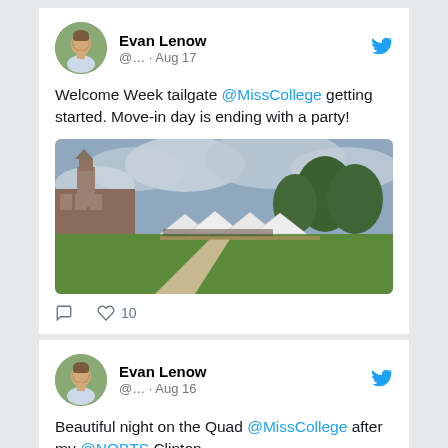Evan Lenow
@... · Aug 17
Welcome Week tailgate @MissCollege getting started. Move-in day is ending with a party!
[Figure (photo): Outdoor campus tailgate event with white tents on a green lawn, cloudy sky, brick building and trees in background]
♡ 10
Evan Lenow
@... · Aug 16
Beautiful night on the Quad @MissCollege after my @NOBTS Clinton